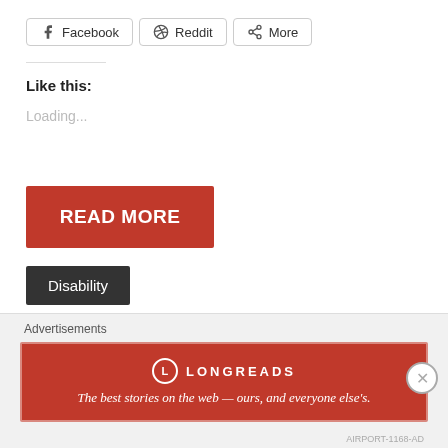Facebook  Reddit  More
Like this:
Loading...
READ MORE
Disability
SPECTRUM 10K: THE FALLACY OF GENETIC
Advertisements
[Figure (other): Longreads advertisement banner: 'The best stories on the web — ours, and everyone else's.']